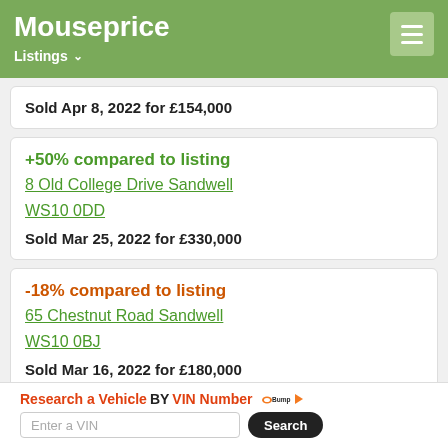Mouseprice — Listings
Sold Apr 8, 2022 for £154,000
+50% compared to listing
8 Old College Drive Sandwell
WS10 0DD
Sold Mar 25, 2022 for £330,000
-18% compared to listing
65 Chestnut Road Sandwell
WS10 0BJ
Sold Mar 16, 2022 for £180,000
Research a Vehicle BY VIN Number — Bump